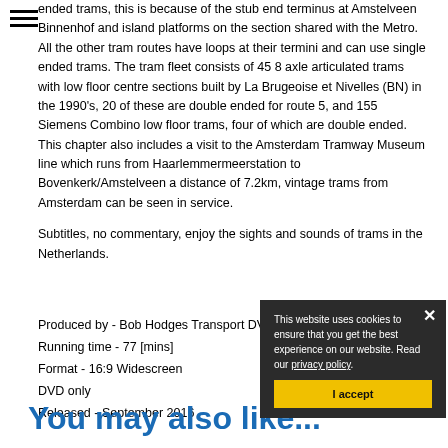ended trams, this is because of the stub end terminus at Amstelveen Binnenhof and island platforms on the section shared with the Metro. All the other tram routes have loops at their termini and can use single ended trams. The tram fleet consists of 45 8 axle articulated trams with low floor centre sections built by La Brugeoise et Nivelles (BN) in the 1990's, 20 of these are double ended for route 5, and 155 Siemens Combino low floor trams, four of which are double ended. This chapter also includes a visit to the Amsterdam Tramway Museum line which runs from Haarlemmermeerstation to Bovenkerk/Amstelveen a distance of 7.2km, vintage trams from Amsterdam can be seen in service.
Subtitles, no commentary, enjoy the sights and sounds of trams in the Netherlands.
Produced by - Bob Hodges Transport DVDs
Running time - 77 [mins]
Format - 16:9 Widescreen
DVD only
Released - September 2016
This website uses cookies to ensure that you get the best experience on our website. Read our privacy policy.
You may also like...